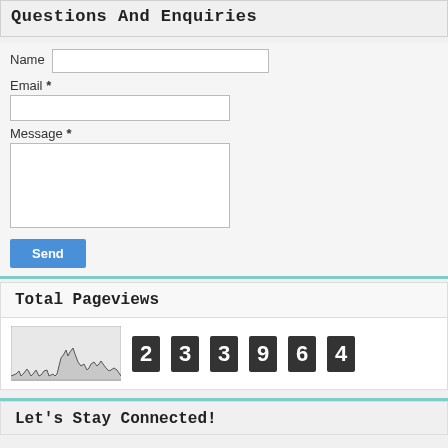Questions And Enquiries
Name
Email *
Message *
Send
Total Pageviews
[Figure (other): Pageview counter widget showing a small sparkline chart and digit tiles displaying the number 233964]
Let's Stay Connected!